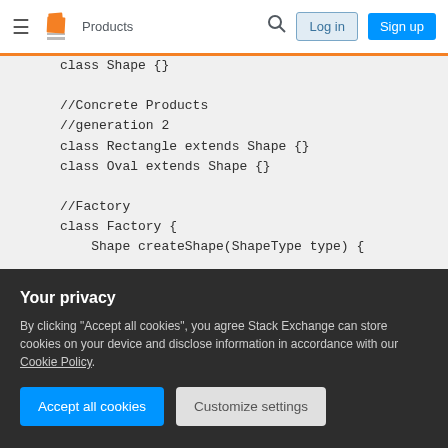≡  [Stack Overflow logo]  Products  🔍  Log in  Sign up
[Figure (screenshot): Code block showing Java class definitions: class Shape {}, Concrete Products comments, class Rectangle extends Shape {}, class Oval extends Shape {}, Factory comment, class Factory { with Shape createShape(ShapeType type) { method, switch (type) { case RECTANGLE: return new Rectangle();]
Your privacy
By clicking "Accept all cookies", you agree Stack Exchange can store cookies on your device and disclose information in accordance with our Cookie Policy.
Accept all cookies  Customize settings